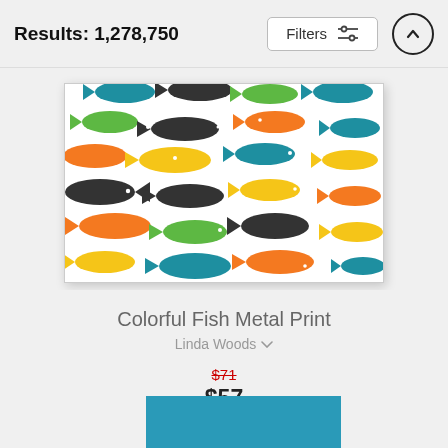Results: 1,278,750
[Figure (screenshot): Filters button with sliders icon and up-arrow circle button in top bar]
[Figure (photo): Colorful fish metal print artwork showing multiple fish silhouettes in green, orange, yellow, teal, and black arranged in a pattern on white background]
Colorful Fish Metal Print
Linda Woods ∨
$71 (strikethrough) $57
[Figure (photo): Partial view of next product — teal/blue colored rectangle at bottom of page]